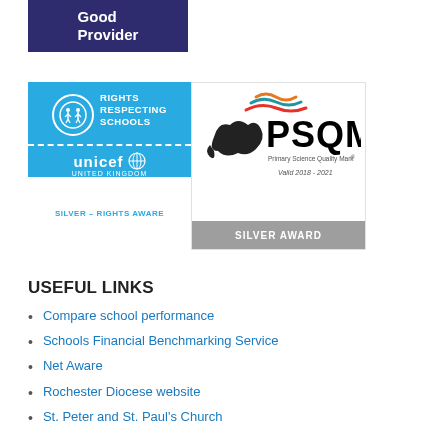[Figure (logo): Dark navy blue rectangle with white bold text reading 'Good Provider']
[Figure (logo): Unicef UK Rights Respecting Schools Silver – Rights Aware badge in blue with white text and dashed divider]
[Figure (logo): PSQM Primary Science Quality Mark Silver Award badge, valid 2018-2021, with whale/swoosh graphic]
USEFUL LINKS
Compare school performance
Schools Financial Benchmarking Service
Net Aware
Rochester Diocese website
St. Peter and St. Paul's Church